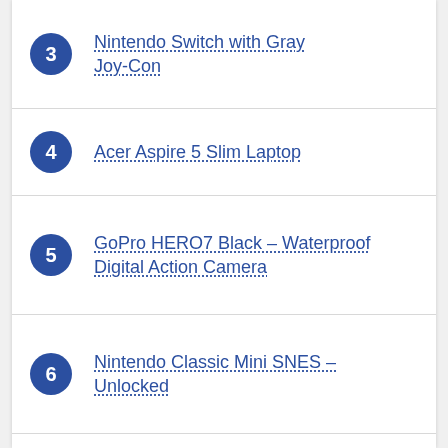3 Nintendo Switch with Gray Joy-Con
4 Acer Aspire 5 Slim Laptop
5 GoPro HERO7 Black – Waterproof Digital Action Camera
6 Nintendo Classic Mini SNES – Unlocked
7 Fitbit Versa 3 Health & Fitness Smartwatch with GPS
8 HTC VIVE Pro Virtual Reality